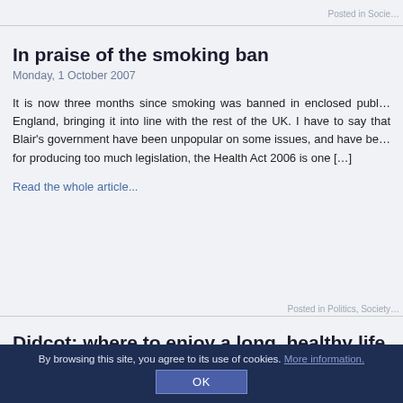Posted in Socie…
In praise of the smoking ban
Monday, 1 October 2007
It is now three months since smoking was banned in enclosed publ… England, bringing it into line with the rest of the UK. I have to say that Blair's government have been unpopular on some issues, and have be… for producing too much legislation, the Health Act 2006 is one […]
Read the whole article...
Posted in Politics, Society…
Didcot: where to enjoy a long, healthy life
Sunday, 9 September 2007
It is an unglamorous town in the south of England known for its rail jun… station and nuclear research laboratory but today, Didcot in Oxfordsh… new and enviable reputation – as the place whose residents enjoy…
By browsing this site, you agree to its use of cookies. More information. OK